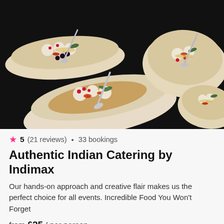[Figure (photo): Indian street food dishes in paper trays on dark background, topped with chutneys, cream, pomegranate, and herbs. Multiple portions visible with spoons.]
5 (21 reviews) • 33 bookings
Authentic Indian Catering by Indimax
Our hands-on approach and creative flair makes us the perfect choice for all events. Incredible Food You Won't Forget
from £25 / per person
[Figure (photo): Charcuterie and crackers platter with meats, olives, and herbs on a wooden board.]